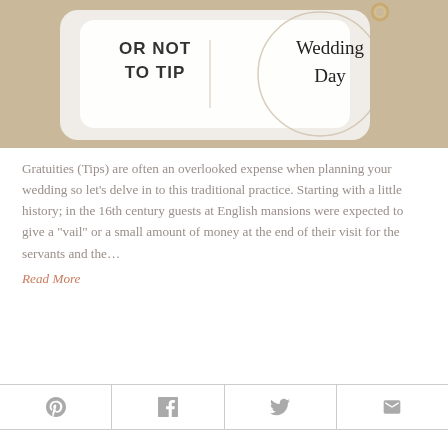[Figure (photo): Wedding ring pillow image with overlay text reading 'Or Not To Tip' on left and 'Wedding Day' on right, suggesting article about wedding day tipping etiquette]
Gratuities (Tips) are often an overlooked expense when planning your wedding so let's delve in to this traditional practice. Starting with a little history; in the 16th century guests at English mansions were expected to give a "vail" or a small amount of money at the end of their visit for the servants and the...
Read More